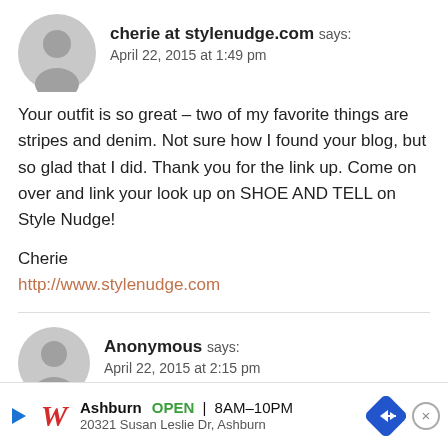cherie at stylenudge.com says:
April 22, 2015 at 1:49 pm
Your outfit is so great – two of my favorite things are stripes and denim. Not sure how I found your blog, but so glad that I did. Thank you for the link up. Come on over and link your look up on SHOE AND TELL on Style Nudge!

Cherie
http://www.stylenudge.com
Anonymous says:
April 22, 2015 at 2:15 pm
You l…
Ashburn OPEN 8AM–10PM 20321 Susan Leslie Dr, Ashburn